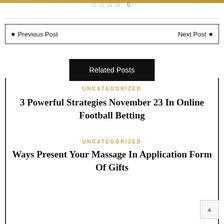0
Previous Post   Next Post
Related Posts
UNCATEGORIZED
3 Powerful Strategies November 23 In Online Football Betting
UNCATEGORIZED
Ways Present Your Massage In Application Form Of Gifts